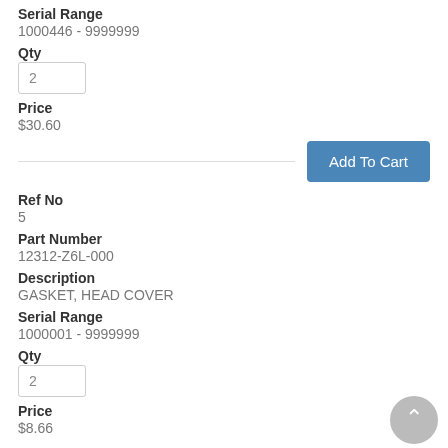Serial Range
1000446 - 9999999
Qty
2
Price
$30.60
Add To Cart
Ref No
5
Part Number
12312-Z6L-000
Description
GASKET, HEAD COVER
Serial Range
1000001 - 9999999
Qty
2
Price
$8.66